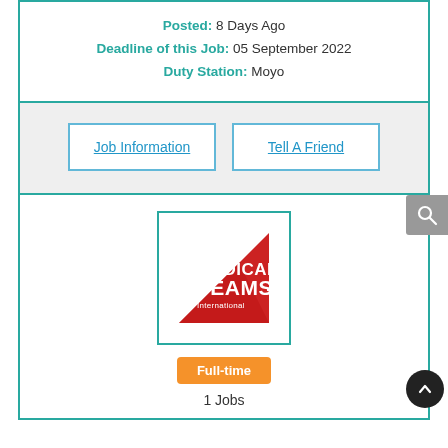Posted: 8 Days Ago
Deadline of this Job: 05 September 2022
Duty Station: Moyo
Job Information
Tell A Friend
[Figure (logo): Medical Teams International logo — red triangular shape with white text reading MEDICAL TEAMS International]
Full-time
1 Jobs